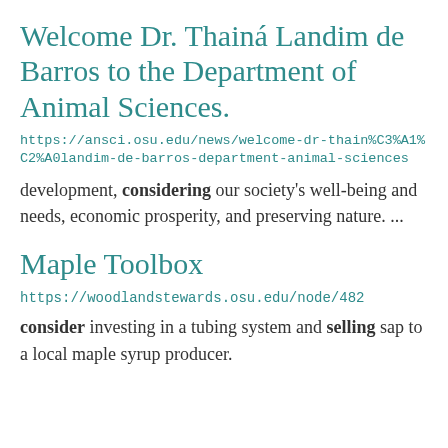Welcome Dr. Thainá Landim de Barros to the Department of Animal Sciences.
https://ansci.osu.edu/news/welcome-dr-thain%C3%A1%C2%A0landim-de-barros-department-animal-sciences
development, considering our society's well-being and needs, economic prosperity, and preserving nature. ...
Maple Toolbox
https://woodlandstewards.osu.edu/node/482
consider investing in a tubing system and selling sap to a local maple syrup producer.